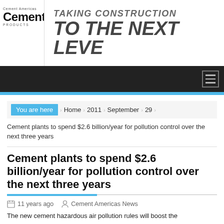[Figure (logo): Cement Products magazine logo with 'Cement' in bold and 'PRODUCTS' below]
[Figure (infographic): Banner advertisement reading 'TAKING CONSTRUCTION TO THE NEXT LEVE[L]' in bold italic text]
Navigation bar with hamburger menu icon
You are here > Home > 2011 > September > 29
Cement plants to spend $2.6 billion/year for pollution control over the next three years
Cement plants to spend $2.6 billion/year for pollution control over the next three years
11 years ago   Cement Americas News
The new cement hazardous air pollution rules will boost the